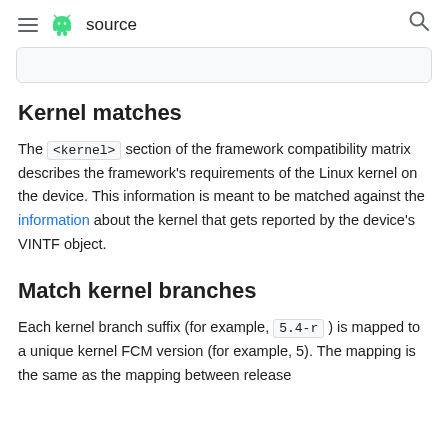≡  source  🔍
Kernel matches
The <kernel> section of the framework compatibility matrix describes the framework's requirements of the Linux kernel on the device. This information is meant to be matched against the information about the kernel that gets reported by the device's VINTF object.
Match kernel branches
Each kernel branch suffix (for example, 5.4-r ) is mapped to a unique kernel FCM version (for example, 5). The mapping is the same as the mapping between release